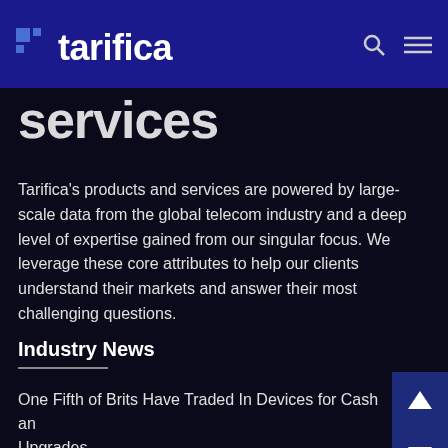tarifica
services
Tarifica's products and services are powered by large-scale data from the global telecom industry and a deep level of expertise gained from our singular focus. We leverage these core attributes to help our clients understand their markets and answer their most challenging questions.
Industry News
One Fifth of Brits Have Traded In Devices for Cash and Upgrades
AT&T Merging Teleband Monitoring Since 7...